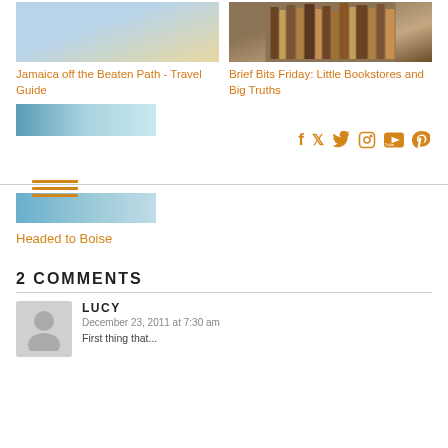[Figure (photo): Beach scene thumbnail with blue mat and white coffee cup]
[Figure (photo): Bookstore interior with shelves of books]
Jamaica off the Beaten Path - Travel Guide
Brief Bits Friday: Little Bookstores and Big Truths
[Figure (photo): Sky/landscape thumbnail image strip]
[Figure (infographic): Hamburger menu icon with three orange horizontal lines]
[Figure (infographic): Social media icons: Facebook, Twitter, Instagram, YouTube, Pinterest in orange]
[Figure (photo): Sky/landscape thumbnail image strip for Headed to Boise]
Headed to Boise
2 COMMENTS
LUCY
December 23, 2011 at 7:30 am
First thing that...